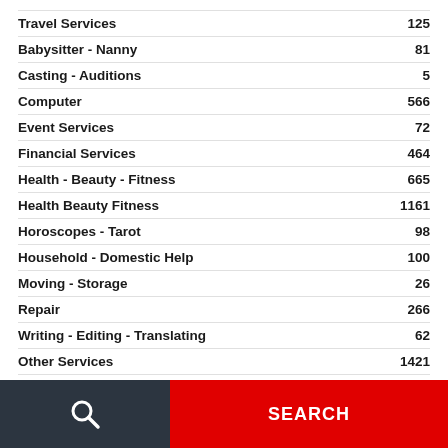Travel Services 125
Babysitter - Nanny 81
Casting - Auditions 5
Computer 566
Event Services 72
Financial Services 464
Health - Beauty - Fitness 665
Health Beauty Fitness 1161
Horoscopes - Tarot 98
Household - Domestic Help 100
Moving - Storage 26
Repair 266
Writing - Editing - Translating 62
Other Services 1421
SEARCH